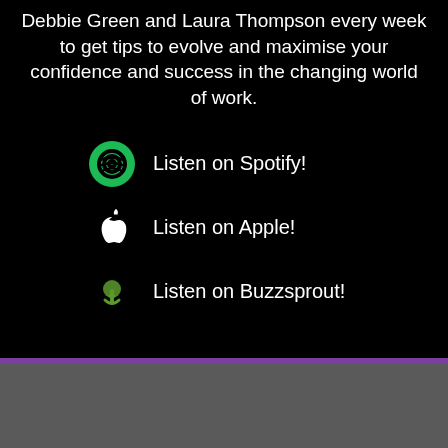Debbie Green and Laura Thompson every week to get tips to evolve and maximise your confidence and success in the changing world of work.
Listen on Spotify!
Listen on Apple!
Listen on Buzzsprout!
Search